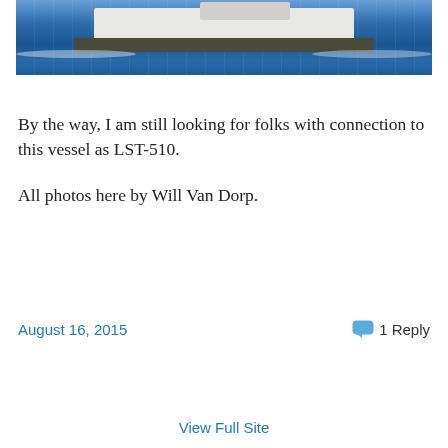[Figure (photo): A large ferry/vessel on blue water, photographed from the side. The white and dark-hulled ship is moving across the frame leaving a wake.]
By the way, I am still looking for folks with connection to this vessel as LST-510.
All photos here by Will Van Dorp.
August 16, 2015
1 Reply
View Full Site